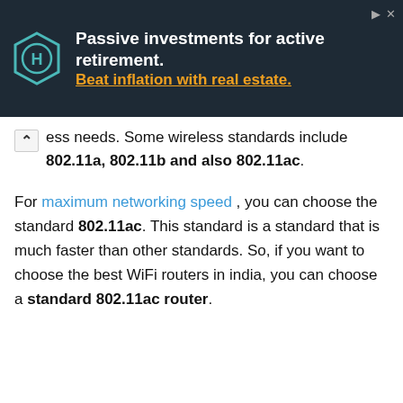[Figure (other): Advertisement banner with dark background. Logo on left (circular hexagonal icon). Text reads: 'Passive investments for active retirement. Beat inflation with real estate.' Play and close icons in top right.]
ess needs. Some wireless standards include 802.11a, 802.11b and also 802.11ac.
For maximum networking speed , you can choose the standard 802.11ac. This standard is a standard that is much faster than other standards. So, if you want to choose the best WiFi routers in india, you can choose a standard 802.11ac router.